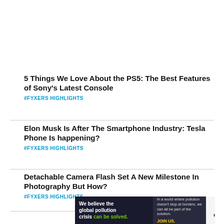5 Things We Love About the PS5: The Best Features of Sony's Latest Console
#FYXERS HIGHLIGHTS
Elon Musk Is After The Smartphone Industry: Tesla Phone Is happening?
#FYXERS HIGHLIGHTS
Detachable Camera Flash Set A New Milestone In Photography But How?
#FYXERS HIGHLIGHTS
[Figure (other): Pure Earth advertisement banner: 'We believe the global pollution crisis can be solved.' with Pure Earth logo and tagline about joining the solution.]